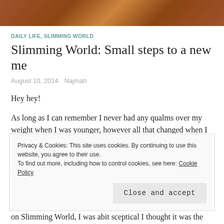[Figure (photo): Top portion of a sandy/earthy colored hero image, possibly showing ground texture]
DAILY LIFE, SLIMMING WORLD
Slimming World: Small steps to a new me
August 10, 2014   Najmah
Hey hey!
As long as I can remember I never had any qualms over my weight when I was younger, however all that changed when I started secondary school. As the pounds piled on it affected my confidence, I lost my self-esteem and it made me feel self-conscious all the time. I tried a number of different diets
Privacy & Cookies: This site uses cookies. By continuing to use this website, you agree to their use.
To find out more, including how to control cookies, see here: Cookie Policy
on Slimming World, I was abit sceptical I thought it was the